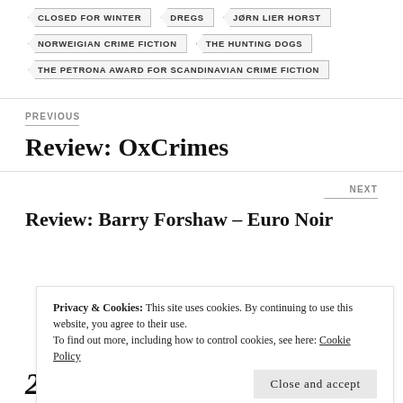CLOSED FOR WINTER
DREGS
JØRN LIER HORST
NORWEIGIAN CRIME FICTION
THE HUNTING DOGS
THE PETRONA AWARD FOR SCANDINAVIAN CRIME FICTION
PREVIOUS
Review: OxCrimes
NEXT
Review: Barry Forshaw – Euro Noir
Privacy & Cookies: This site uses cookies. By continuing to use this website, you agree to their use.
To find out more, including how to control cookies, see here: Cookie Policy
Close and accept
20 thoughts on